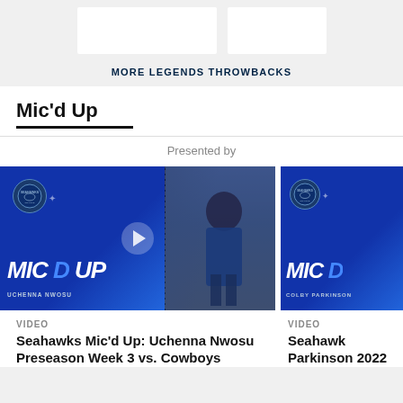MORE LEGENDS THROWBACKS
Mic'd Up
Presented by
[Figure (screenshot): Seahawks Mic'd Up video thumbnail showing Uchenna Nwosu with MIC D UP graphic on blue background and player photo]
VIDEO
Seahawks Mic'd Up: Uchenna Nwosu Preseason Week 3 vs. Cowboys
[Figure (screenshot): Seahawks Mic'd Up video thumbnail showing Colby Parkinson with MIC D UP graphic on blue background]
VIDEO
Seahawks Mic'd Up: Parkinson 2022